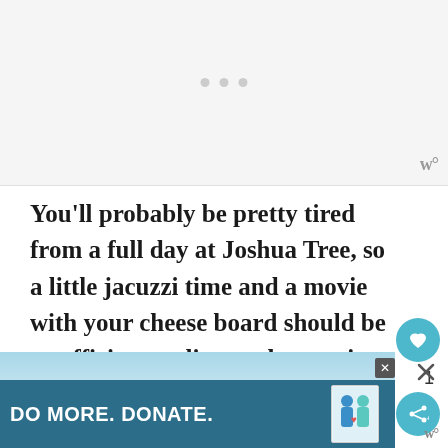[Figure (other): Gray placeholder image area with three loading dots in the center and a watermark logo in the bottom right corner]
You’ll probably be pretty tired from a full day at Joshua Tree, so a little jacuzzi time and a movie with your cheese board should be a sufficient ending to the evening.
[Figure (photo): Partial landscape photo showing a blue sky and terrain, with an advertisement banner overlay reading DO MORE. DONATE. with two illustrated figures]